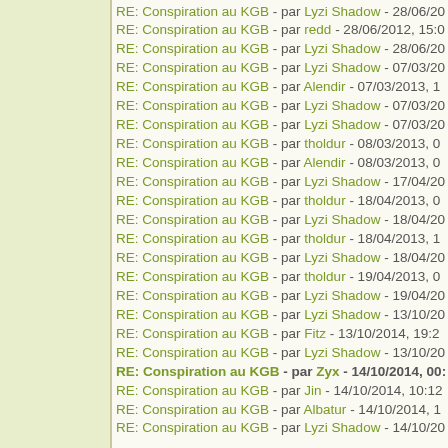RE: Conspiration au KGB - par Lyzi Shadow - 28/06/20...
RE: Conspiration au KGB - par redd - 28/06/2012, 15:0...
RE: Conspiration au KGB - par Lyzi Shadow - 28/06/20...
RE: Conspiration au KGB - par Lyzi Shadow - 07/03/20...
RE: Conspiration au KGB - par Alendir - 07/03/2013, 1...
RE: Conspiration au KGB - par Lyzi Shadow - 07/03/20...
RE: Conspiration au KGB - par Lyzi Shadow - 07/03/20...
RE: Conspiration au KGB - par tholdur - 08/03/2013, 0...
RE: Conspiration au KGB - par Alendir - 08/03/2013, 0...
RE: Conspiration au KGB - par Lyzi Shadow - 17/04/20...
RE: Conspiration au KGB - par tholdur - 18/04/2013, 0...
RE: Conspiration au KGB - par Lyzi Shadow - 18/04/20...
RE: Conspiration au KGB - par tholdur - 18/04/2013, 1...
RE: Conspiration au KGB - par Lyzi Shadow - 18/04/20...
RE: Conspiration au KGB - par tholdur - 19/04/2013, 0...
RE: Conspiration au KGB - par Lyzi Shadow - 19/04/20...
RE: Conspiration au KGB - par Lyzi Shadow - 13/10/20...
RE: Conspiration au KGB - par Fitz - 13/10/2014, 19:2...
RE: Conspiration au KGB - par Lyzi Shadow - 13/10/20...
RE: Conspiration au KGB - par Zyx - 14/10/2014, 00:... (bold, current)
RE: Conspiration au KGB - par Jin - 14/10/2014, 10:12...
RE: Conspiration au KGB - par Albatur - 14/10/2014, 1...
RE: Conspiration au KGB - par Lyzi Shadow - 14/10/20...